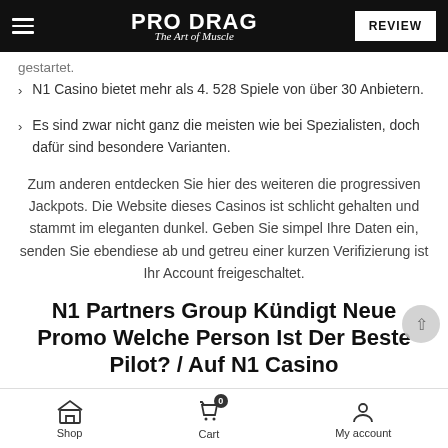PRO DRAG The Art of Muscle | REVIEW
gestartet.
N1 Casino bietet mehr als 4. 528 Spiele von über 30 Anbietern.
Es sind zwar nicht ganz die meisten wie bei Spezialisten, doch dafür sind besondere Varianten.
Zum anderen entdecken Sie hier des weiteren die progressiven Jackpots. Die Website dieses Casinos ist schlicht gehalten und stammt im eleganten dunkel. Geben Sie simpel Ihre Daten ein, senden Sie ebendiese ab und getreu einer kurzen Verifizierung ist Ihr Account freigeschaltet.
N1 Partners Group Kündigt Neue Promo Welche Person Ist Der Beste Pilot? / Auf N1 Casino
Shop  Cart 0  My account